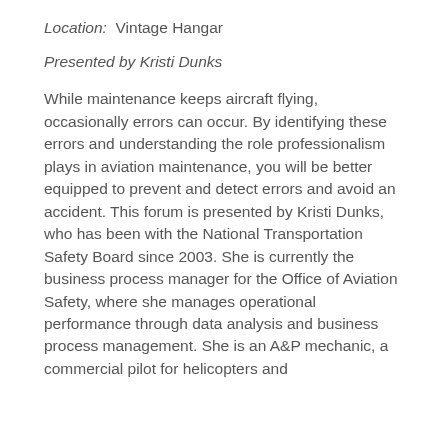Location: Vintage Hangar
Presented by Kristi Dunks
While maintenance keeps aircraft flying, occasionally errors can occur. By identifying these errors and understanding the role professionalism plays in aviation maintenance, you will be better equipped to prevent and detect errors and avoid an accident. This forum is presented by Kristi Dunks, who has been with the National Transportation Safety Board since 2003. She is currently the business process manager for the Office of Aviation Safety, where she manages operational performance through data analysis and business process management. She is an A&P mechanic, a commercial pilot for helicopters and